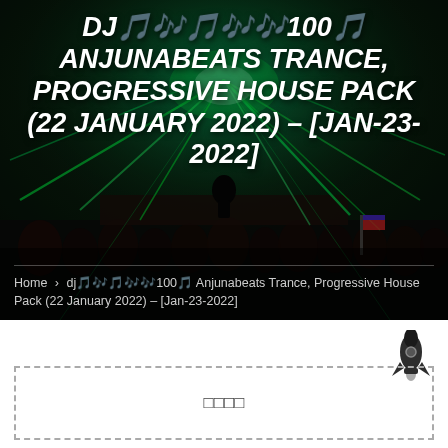[Figure (photo): Concert/festival crowd with colorful green laser lights and performers on stage at night]
DJ🎵🎶🎵🎶🎶100🎵 ANJUNABEATS TRANCE, PROGRESSIVE HOUSE PACK (22 JANUARY 2022) – [JAN-23-2022]
Home › dj🎵🎶🎵🎶🎶100🎵 Anjunabeats Trance, Progressive House Pack (22 January 2022) – [Jan-23-2022]
[Figure (other): Rocket ship icon (dark silhouette) in top-right of white section]
□□□□